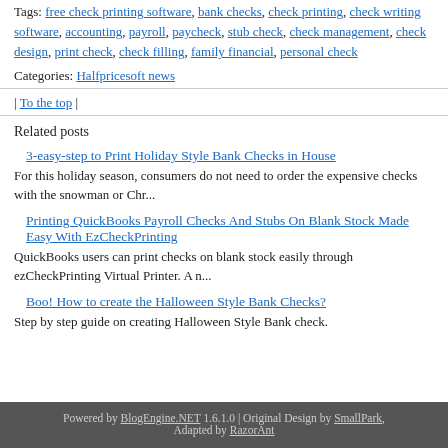Tags: free check printing software, bank checks, check printing, check writing software, accounting, payroll, paycheck, stub check, check management, check design, print check, check filling, family financial, personal check
Categories: Halfpricesoft news
| To the top |
Related posts
3-easy-step to Print Holiday Style Bank Checks in House
For this holiday season, consumers do not need to order the expensive checks with the snowman or Chr...
Printing QuickBooks Payroll Checks And Stubs On Blank Stock Made Easy With EzCheckPrinting
QuickBooks users can print checks on blank stock easily through ezCheckPrinting Virtual Printer. A n...
Boo! How to create the Halloween Style Bank Checks?
Step by step guide on creating Halloween Style Bank check.
Powered by BlogEngine.NET 1.6.1.0 | Original Design by SmallPark, Adapted by RazorAnt